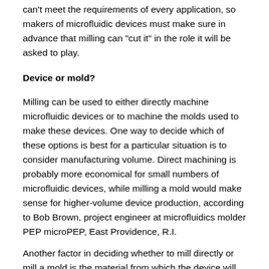can't meet the requirements of every application, so makers of microfluidic devices must make sure in advance that milling can “cut it” in the role it will be asked to play.
Device or mold?
Milling can be used to either directly machine microfluidic devices or to machine the molds used to make these devices. One way to decide which of these options is best for a particular situation is to consider manufacturing volume. Direct machining is probably more economical for small numbers of microfluidic devices, while milling a mold would make sense for higher-volume device production, according to Bob Brown, project engineer at microfluidics molder PEP microPEP, East Providence, R.I.
Another factor in deciding whether to mill directly or mill a mold is the material from which the device will be made.
“If the material is not suitable for machining, like some type of soft polymer, you would need to machine a mold,” said Onik